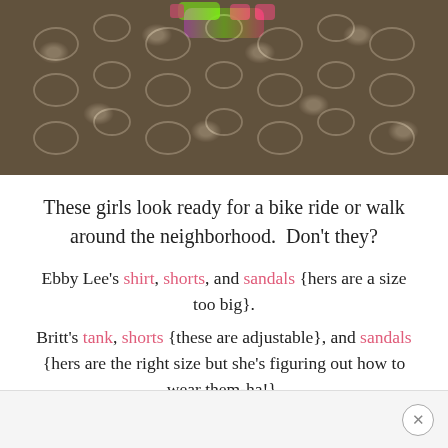[Figure (photo): Photo of children's feet wearing colorful neon sandals standing on a decorative dark iron/rubber scroll-pattern doormat with brick visible in background.]
These girls look ready for a bike ride or walk around the neighborhood.  Don't they?
Ebby Lee's shirt, shorts, and sandals {hers are a size too big}.
Britt's tank, shorts {these are adjustable}, and sandals {hers are the right size but she's figuring out how to wear them-ha!}.